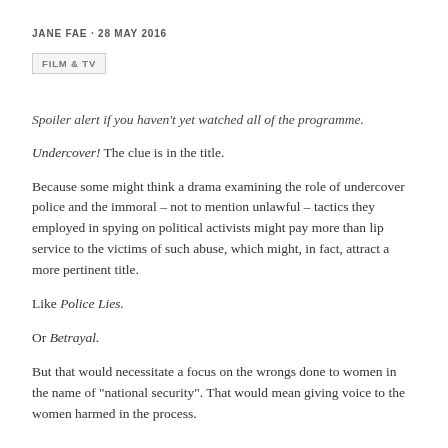JANE FAE · 28 MAY 2016
FILM & TV
Spoiler alert if you haven't yet watched all of the programme.
Undercover! The clue is in the title.
Because some might think a drama examining the role of undercover police and the immoral – not to mention unlawful – tactics they employed in spying on political activists might pay more than lip service to the victims of such abuse, which might, in fact, attract a more pertinent title.
Like Police Lies.
Or Betrayal.
But that would necessitate a focus on the wrongs done to women in the name of "national security". That would mean giving voice to the women harmed in the process.